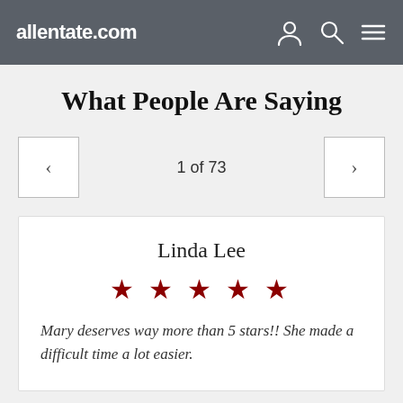allentate.com
What People Are Saying
1 of 73
Linda Lee
[Figure (other): Five dark red star rating icons]
Mary deserves way more than 5 stars!! She made a difficult time a lot easier.